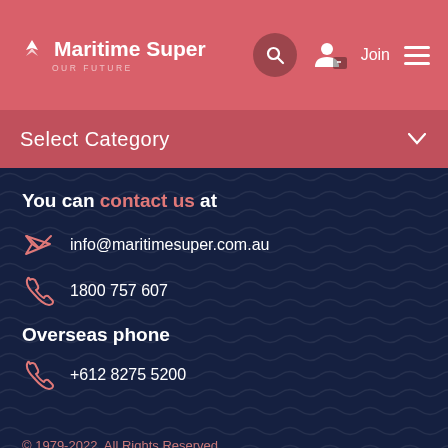Maritime Super OUR FUTURE
Select Category
You can contact us at
info@maritimesuper.com.au
1800 757 607
Overseas phone
+612 8275 5200
© 1979-2022, All Rights Reserved